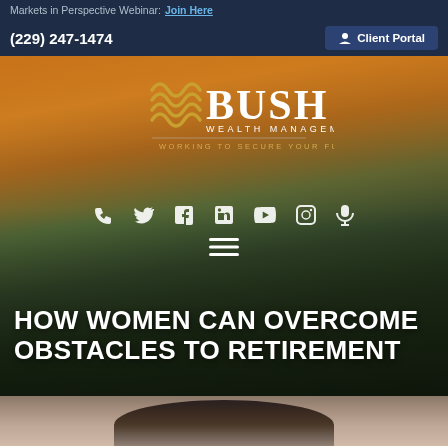Markets in Perspective Webinar: Join Here
(229) 247-1474    Client Portal
[Figure (logo): Bush Wealth Management logo with wave motif and tagline 'WORKING TO SECURE YOUR FUTURE' on aerial city background with sunset sky]
HOW WOMEN CAN OVERCOME OBSTACLES TO RETIREMENT
[Figure (photo): Bottom portion of portrait photo showing a woman with glasses and gray/dark hair]